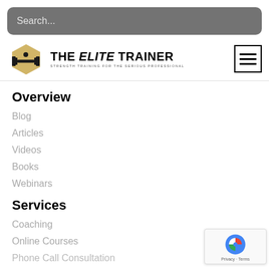Search...
[Figure (logo): The Elite Trainer logo with dumbbell hexagon icon and text THE ELITE TRAINER STRENGTH TRAINING FOR THE SERIOUS PROFESSIONAL, with hamburger menu icon on the right]
Overview
Blog
Articles
Videos
Books
Webinars
Services
Coaching
Online Courses
Phone Call Consultation